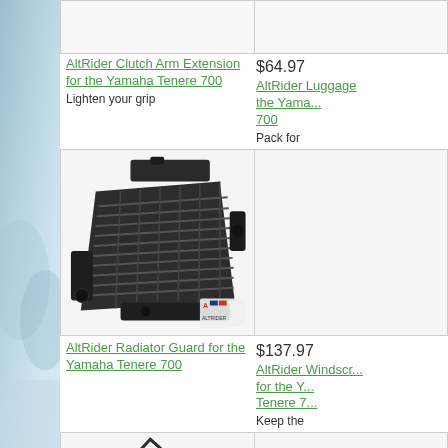[Figure (other): Left decorative panel with blue-green gradient suggesting outdoor/mountain scenery]
[Figure (photo): Top partial product image (cut off) - AltRider product for Yamaha Tenere 700]
AltRider Clutch Arm Extension for the Yamaha Tenere 700
$64.97
AltRider Luggage... the Yama... 700
Lighten your grip
Pack for
[Figure (photo): AltRider Radiator Guard for the Yamaha Tenere 700 - black metal mesh guard product photo with AltRider logo]
[Figure (photo): Right product image (partially cut off)]
AltRider Radiator Guard for the Yamaha Tenere 700
$137.97
AltRider Windscr... for the Y... Tenere 7...
Keep the
[Figure (photo): Bottom partial product image - AltRider guard product with geometric cutout design]
[Figure (photo): Bottom right product image (partially cut off)]